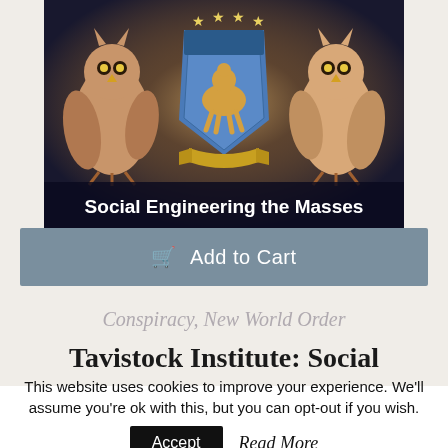[Figure (illustration): Book cover showing a coat of arms with two owls flanking a central shield, stars above, on a dark background. Title 'Social Engineering the Masses' overlaid at the bottom.]
Add to Cart
Conspiracy, New World Order
Tavistock Institute: Social
This website uses cookies to improve your experience. We'll assume you're ok with this, but you can opt-out if you wish.
Accept   Read More